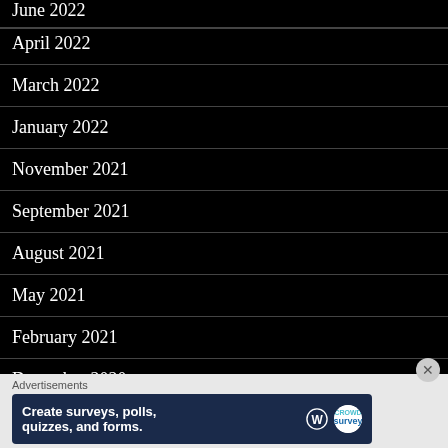June 2022
April 2022
March 2022
January 2022
November 2021
September 2021
August 2021
May 2021
February 2021
December 2020
November 2020
Advertisements
[Figure (screenshot): Advertisement banner: 'Create surveys, polls, quizzes, and forms.' with WordPress and Survey logos on dark blue background]